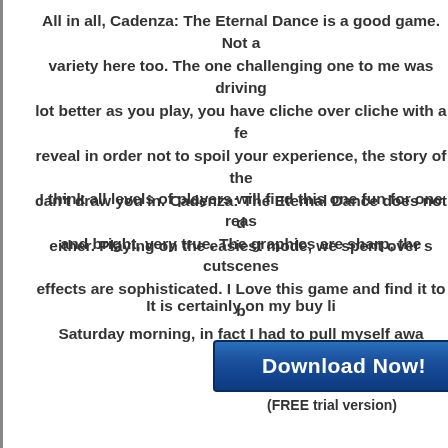All in all, Cadenza: The Eternal Dance is a good game. Not a variety here too. The one challenging one to me was driving lot better as you play, you have cliche over cliche with a fe reveal in order not to spoil your experience, the story of the can't draw you in. Cadenza: The Eternal Dance does not d either. Playing on the easiest mode, we spent over s
I think all levels of players will find this one fun for one reas and bright, very true. The graphics are sharp, the cutscenes effects are sophisticated. I Love this game and find it to b Saturday morning, in fact I had to pull myself awa
It is certainly on my buy li
[Figure (other): Download Now! button with FREE trial version text below]
(FREE trial version)